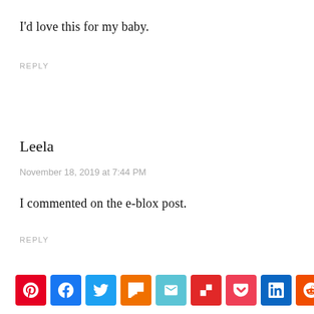I'd love this for my baby.
REPLY
Leela
November 18, 2019 at 7:44 PM
I commented on the e-blox post.
REPLY